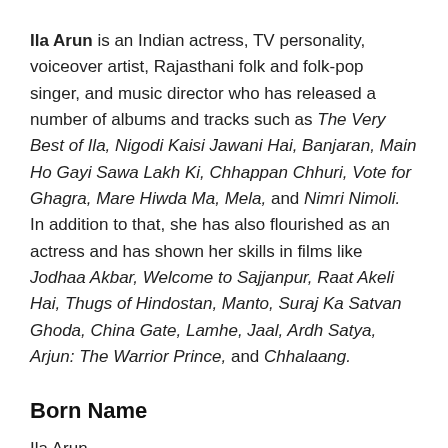Ila Arun is an Indian actress, TV personality, voiceover artist, Rajasthani folk and folk-pop singer, and music director who has released a number of albums and tracks such as The Very Best of Ila, Nigodi Kaisi Jawani Hai, Banjaran, Main Ho Gayi Sawa Lakh Ki, Chhappan Chhuri, Vote for Ghagra, Mare Hiwda Ma, Mela, and Nimri Nimoli. In addition to that, she has also flourished as an actress and has shown her skills in films like Jodhaa Akbar, Welcome to Sajjanpur, Raat Akeli Hai, Thugs of Hindostan, Manto, Suraj Ka Satvan Ghoda, China Gate, Lamhe, Jaal, Ardh Satya, Arjun: The Warrior Prince, and Chhalaang.
Born Name
Ila Arun